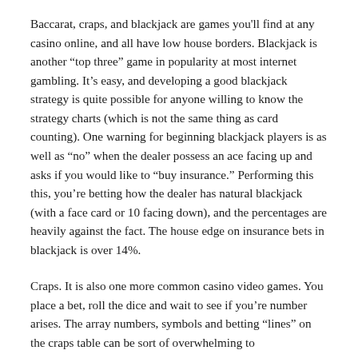Baccarat, craps, and blackjack are games you'll find at any casino online, and all have low house borders. Blackjack is another “top three” game in popularity at most internet gambling. It’s easy, and developing a good blackjack strategy is quite possible for anyone willing to know the strategy charts (which is not the same thing as card counting). One warning for beginning blackjack players is as well as “no” when the dealer possess an ace facing up and asks if you would like to “buy insurance.” Performing this this, you’re betting how the dealer has natural blackjack (with a face card or 10 facing down), and the percentages are heavily against the fact. The house edge on insurance bets in blackjack is over 14%.
Craps. It is also one more common casino video games. You place a bet, roll the dice and wait to see if you’re number arises. The array numbers, symbols and betting “lines” on the craps table can be sort of overwhelming to